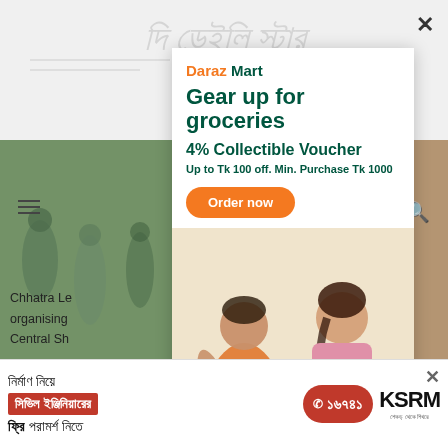[Figure (screenshot): Background newspaper website page with street scene photos partially visible behind a popup advertisement]
[Figure (infographic): Daraz Mart popup advertisement: 'Gear up for groceries', '4% Collectible Voucher', 'Up to Tk 100 off. Min. Purchase Tk 1000', 'Order now' button, two women looking at phone with grocery items, '*Same Day Delivery (Order by 12 AM - 11 AM)', '*T&C Apply']
Chhatra Le... Yahya, organising... the Central Sh... s of the
[Figure (infographic): Bottom banner ad in Bengali for KSRM construction: 'নির্মাণ নিয়ে', 'সিভিল ইঞ্জিনিয়ারের', 'ফ্রি পরামর্শ নিতে', phone number ১৬৭৪১, KSRM logo]